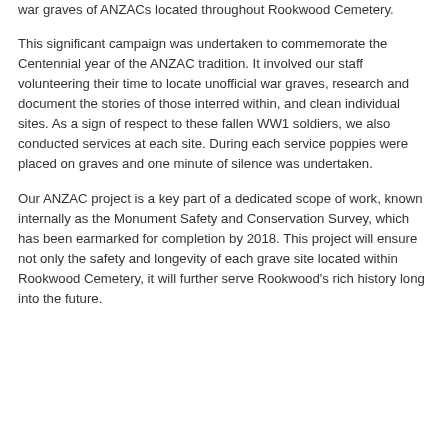war graves of ANZACs located throughout Rookwood Cemetery.
This significant campaign was undertaken to commemorate the Centennial year of the ANZAC tradition. It involved our staff volunteering their time to locate unofficial war graves, research and document the stories of those interred within, and clean individual sites. As a sign of respect to these fallen WW1 soldiers, we also conducted services at each site. During each service poppies were placed on graves and one minute of silence was undertaken.
Our ANZAC project is a key part of a dedicated scope of work, known internally as the Monument Safety and Conservation Survey, which has been earmarked for completion by 2018. This project will ensure not only the safety and longevity of each grave site located within Rookwood Cemetery, it will further serve Rookwood's rich history long into the future.